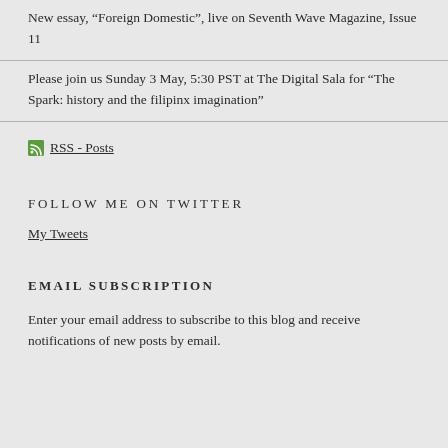New essay, “Foreign Domestic”, live on Seventh Wave Magazine, Issue 11
Please join us Sunday 3 May, 5:30 PST at The Digital Sala for “The Spark: history and the filipinx imagination”
RSS - Posts
FOLLOW ME ON TWITTER
My Tweets
EMAIL SUBSCRIPTION
Enter your email address to subscribe to this blog and receive notifications of new posts by email.